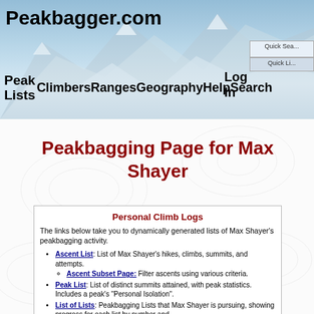Peakbagger.com
Peak Lists  Climbers  Ranges  Geography  Help  Search  Log In
Peakbagging Page for Max Shayer
Personal Climb Logs
The links below take you to dynamically generated lists of Max Shayer's peakbagging activity.
Ascent List: List of Max Shayer's hikes, climbs, summits, and attempts.
Ascent Subset Page: Filter ascents using various criteria.
Peak List: List of distinct summits attained, with peak statistics. Includes a peak's "Personal Isolation".
List of Lists: Peakbagging Lists that Max Shayer is pursuing, showing progress for each list by number and